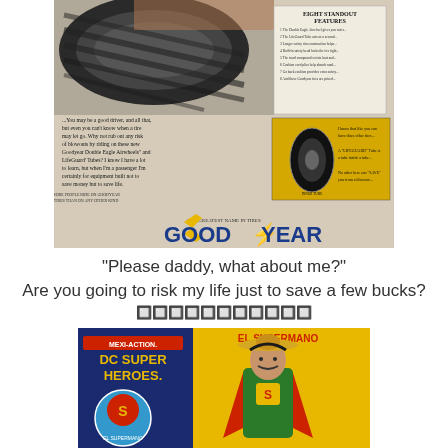[Figure (photo): Vintage Goodyear tire advertisement showing a close-up of tires, ad copy text, a features card, and the Goodyear logo in blue and yellow]
"Please daddy, what about me?"
Are you going to risk my life just to save a few bucks?
🔲🔲🔲🔲🔲🔲🔲🔲🔲🔲🔲
[Figure (photo): Photo of a bootleg toy package reading 'MEXI-ACTION DC SUPER HEROES' featuring 'EL SUPERMANO' - a Superman figure wearing a sombrero]